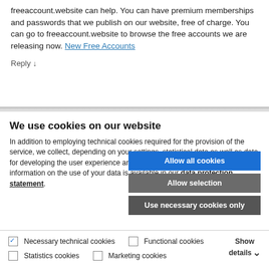freeaccount.website can help. You can have premium memberships and passwords that we publish on our website, free of charge. You can go to freeaccount.website to browse the free accounts we are releasing now. New Free Accounts
Reply ↓
We use cookies on our website
In addition to employing technical cookies required for the provision of the service, we collect, depending on your settings, statistical data as well as data for developing the user experience and for targeted marketing. Further information on the use of your data is available in our data protection statement.
Allow all cookies
Allow selection
Use necessary cookies only
Necessary technical cookies   Functional cookies   Statistics cookies   Marketing cookies   Show details